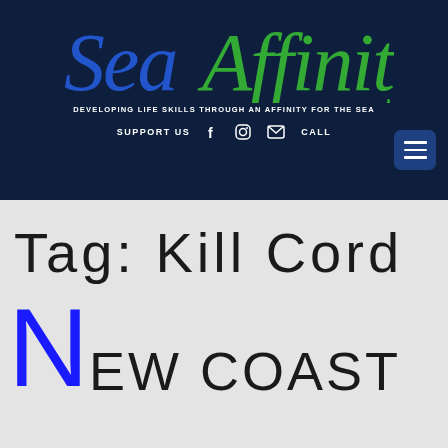[Figure (logo): SeaAffinity logo — 'Sea' in blue italic script and 'Affinity' in green italic script on dark navy background]
DEVELOPING LIFE SKILLS THROUGH AN AFFINITY FOR THE SEA
SUPPORT US   f   Instagram   Email   CALL
Tag: Kill Cord
New Coast